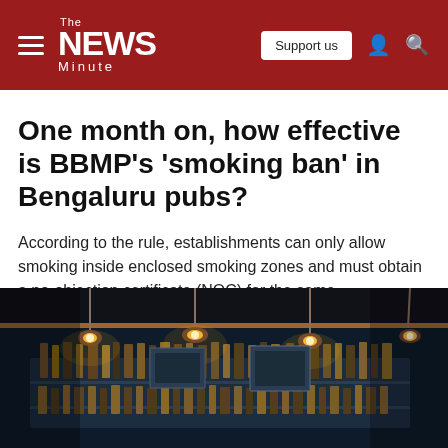The NEWS Minute — Support us
One month on, how effective is BBMP's 'smoking ban' in Bengaluru pubs?
According to the rule, establishments can only allow smoking inside enclosed smoking zones and must obtain a no-objection certificate (NOC) for the same.
[Figure (photo): Dark interior of a bar/pub with hanging pendant lights and shelves of liquor bottles in the background]